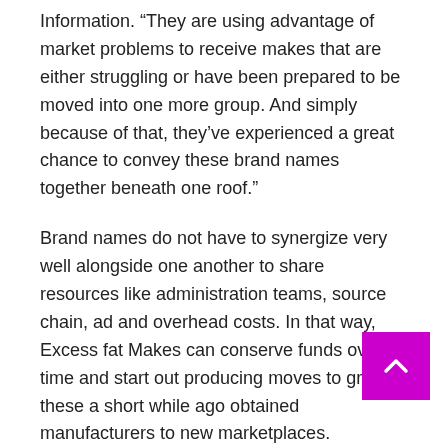Information. “They are using advantage of market problems to receive makes that are either struggling or have been prepared to be moved into one more group. And simply because of that, they’ve experienced a great chance to convey these brand names together beneath one roof.”
Brand names do not have to synergize very well alongside one another to share resources like administration teams, source chain, ad and overhead costs. In that way, Excess fat Makes can conserve funds over time and start out producing moves to grow these a short while ago obtained manufacturers to new marketplaces.
“You can make variations pretty rapidly and shift brand names into a much stronger fiscal placement incredibly speedily,” Tristano explained.